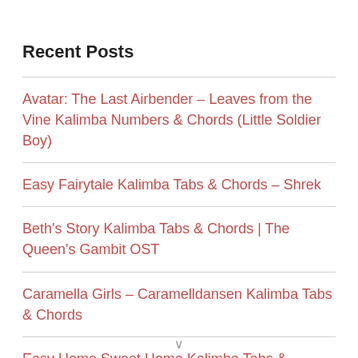Recent Posts
Avatar: The Last Airbender – Leaves from the Vine Kalimba Numbers & Chords (Little Soldier Boy)
Easy Fairytale Kalimba Tabs & Chords – Shrek
Beth's Story Kalimba Tabs & Chords | The Queen's Gambit OST
Caramella Girls – Caramelldansen Kalimba Tabs & Chords
Easy Home Sweet Home Kalimba Tabs & Chords (Grave of the Fireflies)